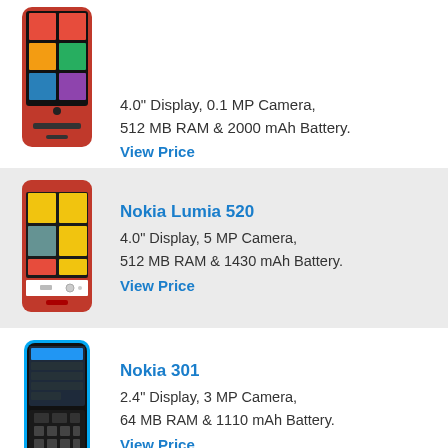[Figure (photo): Nokia Lumia phone (red) partially visible at top of page]
4.0" Display, 0.1 MP Camera, 512 MB RAM & 2000 mAh Battery.
View Price
[Figure (photo): Nokia Lumia 520 phone with yellow tiles on screen]
Nokia Lumia 520
4.0" Display, 5 MP Camera, 512 MB RAM & 1430 mAh Battery.
View Price
[Figure (photo): Nokia 301 phone in blue/black]
Nokia 301
2.4" Display, 3 MP Camera, 64 MB RAM & 1110 mAh Battery.
View Price
[Figure (photo): Nokia 113 phone in pink/magenta]
Nokia 113
1.8" Display, 0.3 MP Camera,